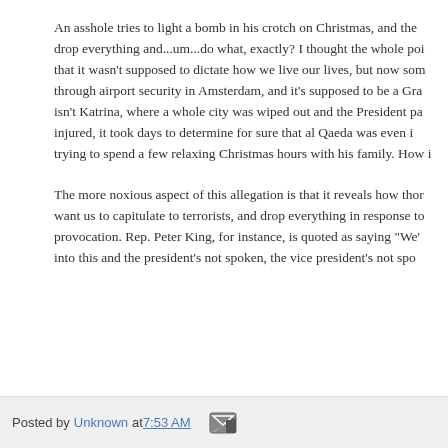An asshole tries to light a bomb in his crotch on Christmas, and the drop everything and...um...do what, exactly? I thought the whole poi that it wasn't supposed to dictate how we live our lives, but now som through airport security in Amsterdam, and it's supposed to be a Gra isn't Katrina, where a whole city was wiped out and the President pa injured, it took days to determine for sure that al Qaeda was even i trying to spend a few relaxing Christmas hours with his family. How i
The more noxious aspect of this allegation is that it reveals how thor want us to capitulate to terrorists, and drop everything in response to provocation. Rep. Peter King, for instance, is quoted as saying "We' into this and the president's not spoken, the vice president's not spo general's not spoken and Janet Napolitano has now told two differen
Obviously, this would be a different type of story had the bomb actua and the entire executive branch getting in front of news cameras and isn't likely to make us all calmer about the whole situation; quite the to do is treat these incidents with extreme, and quiet, seriousness th while not handing al Qaeda massive propaganda victories every tim operation.
Posted by Unknown at 7:53 AM